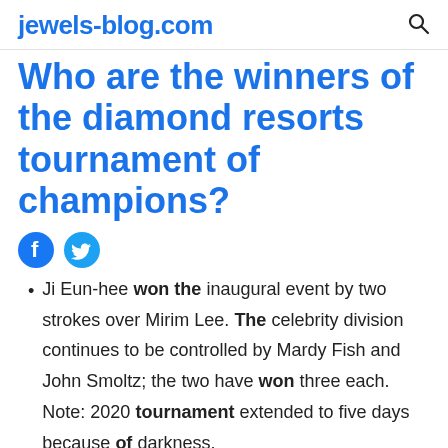jewels-blog.com
Who are the winners of the diamond resorts tournament of champions?
[Figure (other): Facebook and Twitter social share icons]
Ji Eun-hee won the inaugural event by two strokes over Mirim Lee. The celebrity division continues to be controlled by Mardy Fish and John Smoltz; the two have won three each. Note: 2020 tournament extended to five days because of darkness.